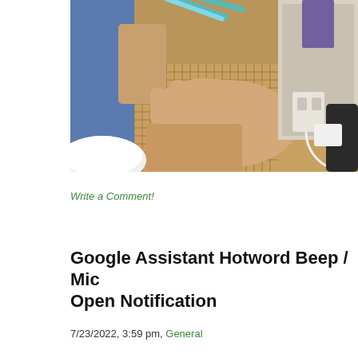[Figure (photo): A person holding a toothbrush in one hand and presenting an open palm with the other hand, in a bathroom setting with tile background and a mirror. A device is plugged into a wall outlet on the right.]
Write a Comment!
Google Assistant Hotword Beep / Mic Open Notification
7/23/2022, 3:59 pm, General